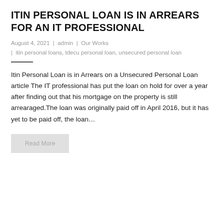ITIN PERSONAL LOAN IS IN ARREARS FOR AN IT PROFESSIONAL
August 4, 2021 | admin | Our Works
| itin personal loans, tdecu personal loan, unsecured personal loan
Itin Personal Loan is in Arrears on a Unsecured Personal Loan article The IT professional has put the loan on hold for over a year after finding out that his mortgage on the property is still arrearaged.The loan was originally paid off in April 2016, but it has yet to be paid off, the loan…
Read More